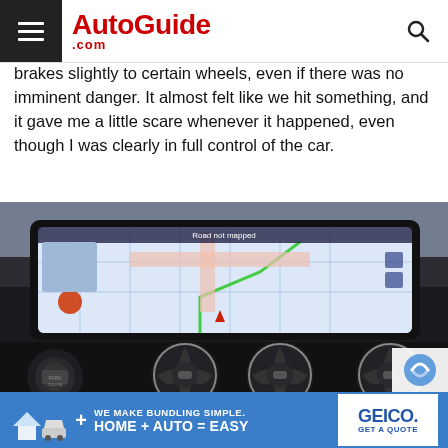AutoGuide.com
brakes slightly to certain wheels, even if there was no imminent danger. It almost felt like we hit something, and it gave me a little scare whenever it happened, even though I was clearly in full control of the car.
[Figure (photo): Car interior showing a Mercedes-Benz dashboard with a navigation screen displaying a map, and three circular turbine-style air vents below the screen]
[Figure (photo): GEICO advertisement: We Make Bundling Simple. Home + Auto = Easy. Get a Quote.]